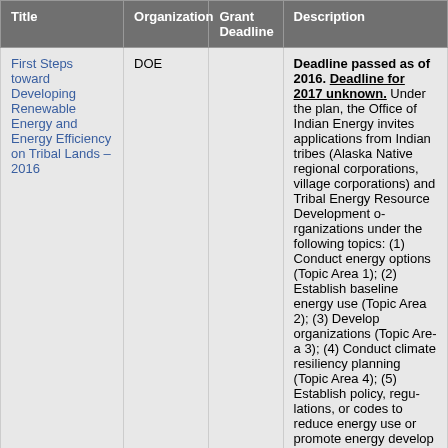| Title | Organization | Grant Deadline | Description |
| --- | --- | --- | --- |
| First Steps toward Developing Renewable Energy and Energy Efficiency on Tribal Lands – 2016 | DOE |  | Deadline passed as of 2016. Deadline for 2017 unknown. Under the plan, the Office of Indian Energy invites applications from Indian tribes (Alaska Native regional corporations, village corporations) and Tribal Energy Resource Development organizations under the following topics: (1) Conduct energy options (Topic Area 1); (2) Establish baseline energy use (Topic Area 2); (3) Develop organizations (Topic Area 3); (4) Conduct climate resiliency planning (Topic Area 4); (5) Establish policy, regulations, or codes to reduce energy use or promote energy develop (Topic Area 5); (6) Obtain skills and training for managing energy use and development (Topic Area 6). It is expected that projects funded will result in specific measurable results or end-products that will help the development and deployment... |